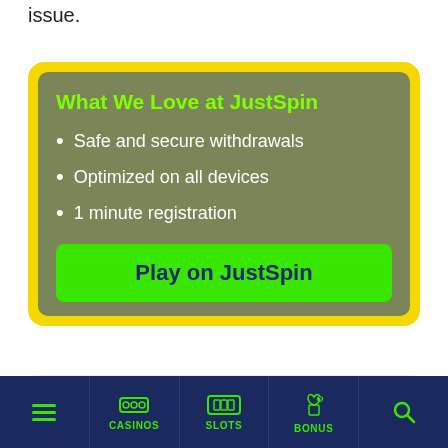issue.
What We Love at JustSpin
Safe and secure withdrawals
Optimized on all devices
1 minute registration
Play on JustSpin
You must be logged in to post a comment.
CASINOS | SLOTS | BONUS